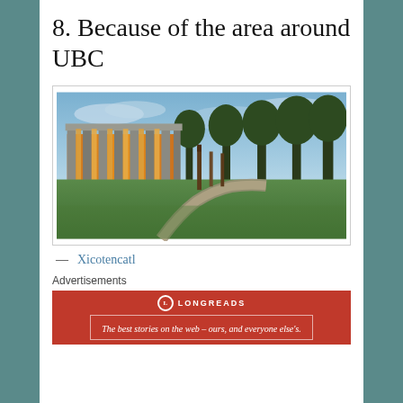8. Because of the area around UBC
[Figure (photo): Exterior of a modern building with glass and concrete facade at dusk, with totem poles and trees visible in the background, and a winding pathway through green grass in the foreground. Likely the Museum of Anthropology at UBC.]
— Xicotencatl
Advertisements
[Figure (logo): Longreads advertisement banner in red with white text: 'The best stories on the web – ours, and everyone else's.']